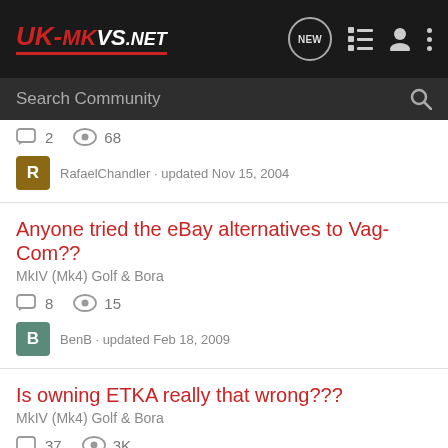UK-MKVS.NET
Search Community
2 replies · 68 views · RafaelChandler · updated Nov 15, 2004
Anyone tried the eBay alternatives to Vag-Com??
MkIV (Mk4) Golf & Bora
8 replies · 15 views · BenB · updated Feb 18, 2009
Is owning ETKA really that wrong???
MkIV (Mk4) Golf & Bora
37 replies · 3K views